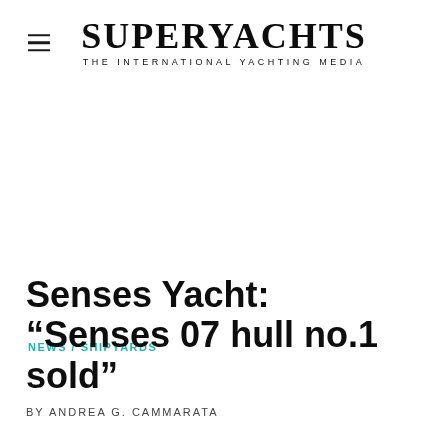SUPERYACHTS — THE INTERNATIONAL YACHTING MEDIA
NEWS / SHIPYARDS
Senses Yacht: “Senses 07 hull no.1 sold”
BY ANDREA G. CAMMARATA